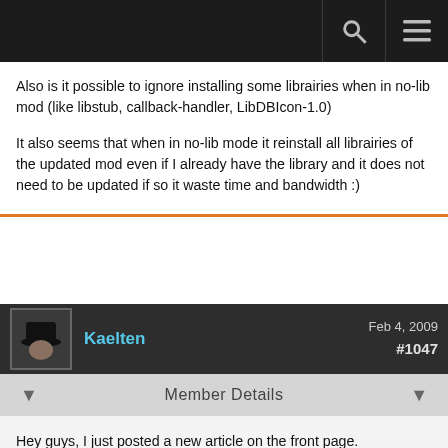Navigation bar with search and menu icons
Also is it possible to ignore installing some librairies when in no-lib mod (like libstub, callback-handler, LibDBIcon-1.0)

It also seems that when in no-lib mode it reinstall all librairies of the updated mod even if I already have the library and it does not need to be updated if so it waste time and bandwidth :)
Kaelten  Feb 4, 2009  #1047
Member Details
Hey guys, I just posted a new article on the front page.

http://www.wowace.com/announcements/curse-client-2-1-rc1-release/

:)